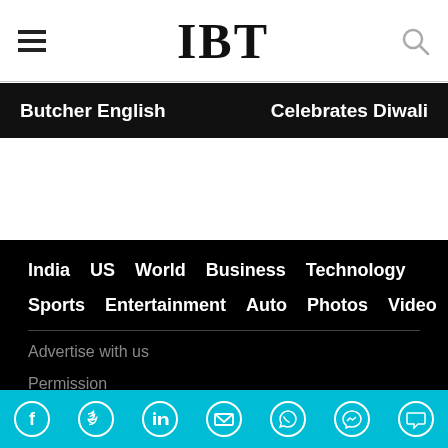IBT
Butcher English | Celebrates Diwali
India
US
World
Business
Technology
Sports
Entertainment
Auto
Photos
Video
Advertise with us
Permission
Syndication
Terms of service
Privacy & Cookie Policy